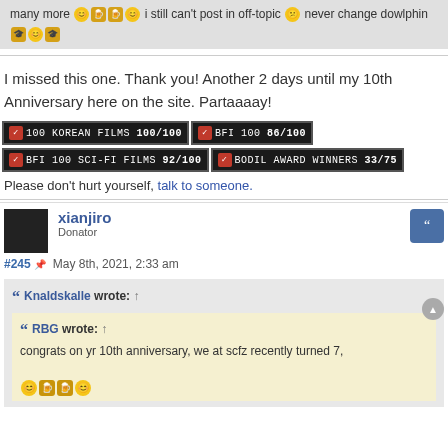many more 😊🍺🍺😊 i still can't post in off-topic 😕 never change dowlphin 🎓😊🎓
I missed this one. Thank you! Another 2 days until my 10th Anniversary here on the site. Partaaaay!
[Figure (other): Four achievement badges: 100 KOREAN FILMS 100/100, BFI 100 86/100, BFI 100 SCI-FI FILMS 92/100, BODIL AWARD WINNERS 33/75]
Please don't hurt yourself, talk to someone.
xianjiro
Donator
#245 May 8th, 2021, 2:33 am
Knaldskalle wrote: ↑
RBG wrote: ↑
congrats on yr 10th anniversary, we at scfz recently turned 7,